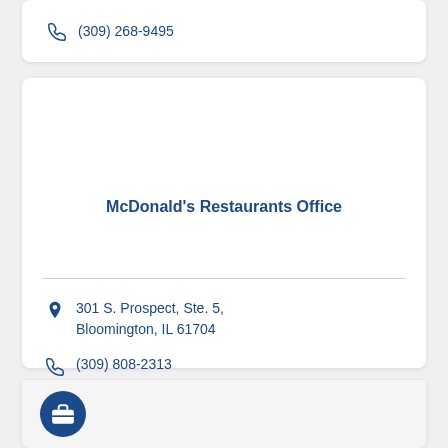(309) 268-9495
McDonald's Restaurants Office
301 S. Prospect, Ste. 5, Bloomington, IL 61704
(309) 808-2313
[Figure (illustration): Dark blue circular icon with a briefcase/suitcase symbol inside]